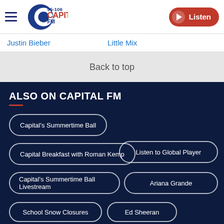Capital FM 95-106 | Listen
Justin Bieber
Little Mix
Back to top
ALSO ON CAPITAL FM
Capital's Summertime Ball
Capital Breakfast with Roman Kemp
Listen to Global Player
Capital's Summertime Ball Livestream
Ariana Grande
School Snow Closures
Ed Sheeran